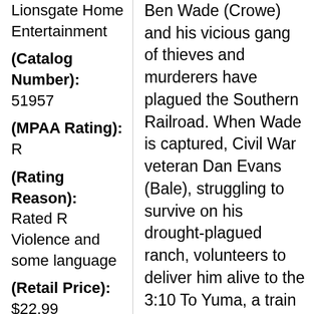Lionsgate Home Entertainment
(Catalog Number): 51957
(MPAA Rating): R
(Rating Reason): Rated R Violence and some language
(Retail Price): $22.99
Ben Wade (Crowe) and his vicious gang of thieves and murderers have plagued the Southern Railroad. When Wade is captured, Civil War veteran Dan Evans (Bale), struggling to survive on his drought-plagued ranch, volunteers to deliver him alive to the 3:10 To Yuma, a train that will take the killer to prison. During the grueling expedition, Evans and Wade, each from very different worlds, begin to earn each other's respect. However, with Wade's posse on their trail, the mission soon becomes a